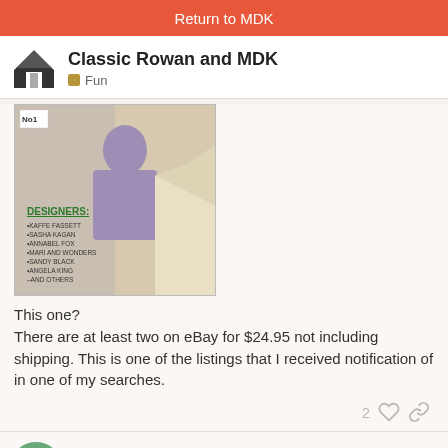Return to MDK
Classic Rowan and MDK
Fun
[Figure (photo): Magazine cover showing 'No 1' issue with a person wearing a knitted sweater. Text reads DESIGNERS: KAFFE FASSETT, SASHA KAGAN, ANNABEL FOX, MARI AND WONDERS, SANDY BLACK, ANGELA KING, AND OTHERS]
This one?
There are at least two on eBay for $24.95 not including shipping. This is one of the listings that I received notification of in one of my searches.
2
kcknits
3 / 16